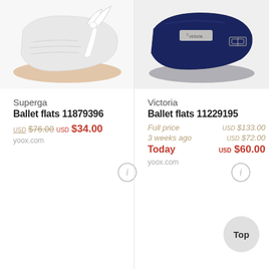[Figure (photo): White Superga ballet flat with bow/ribbon, viewed from above on white background]
[Figure (photo): Navy blue Victoria ballet flat with buckle strap, viewed from above on light background]
Superga
Ballet flats 11879396
USD $76.00 USD $34.00
yoox.com
Victoria
Ballet flats 11229195
Full price USD $133.00
3 weeks ago USD $72.00
Today USD $60.00
yoox.com
Top